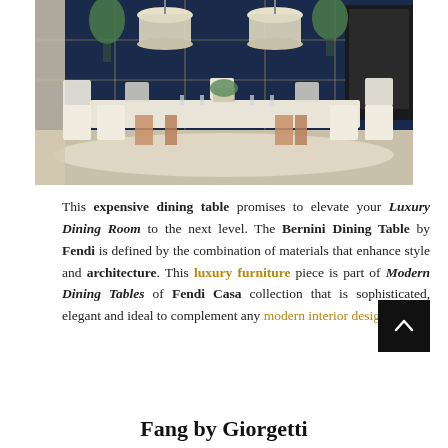[Figure (photo): Luxury dining room with a large marble-top dining table on a rose-gold base, surrounded by white upholstered chairs, two pendant drum lights overhead, dark navy blue wall with gold geometric shelving, green plants, and a TV on the right side.]
This expensive dining table promises to elevate your Luxury Dining Room to the next level. The Bernini Dining Table by Fendi is defined by the combination of materials that enhance style and architecture. This luxury furniture piece is part of Modern Dining Tables of Fendi Casa collection that is sophisticated, elegant and ideal to complement any modern interior design.
Fang by Giorgetti